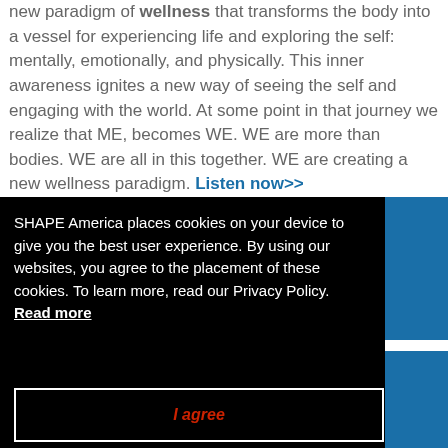new paradigm of wellness that transforms the body into a vessel for experiencing life and exploring the self: mentally, emotionally, and physically. This inner awareness ignites a new way of seeing the self and engaging with the world. At some point in that journey we realize that ME, becomes WE. WE are more than bodies. WE are all in this together. WE are creating a new wellness paradigm. Listen now>>
SHAPE America places cookies on your device to give you the best user experience. By using our websites, you agree to the placement of these cookies. To learn more, read our Privacy Policy. Read more
I agree